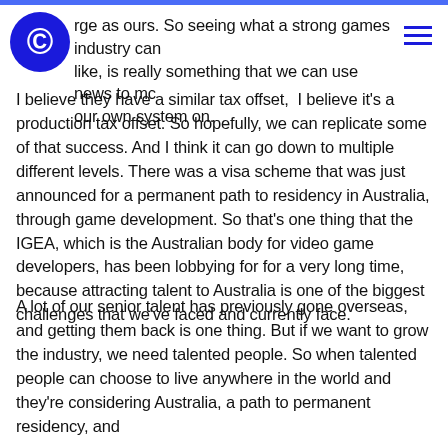large as ours. So seeing what a strong games industry can like, is really something that we can use news to model our own system on.
I believe they have a similar tax offset,  I believe it's a production tax offset. So hopefully, we can replicate some of that success. And I think it can go down to multiple different levels. There was a visa scheme that was just announced for a permanent path to residency in Australia, through game development. So that's one thing that the IGEA, which is the Australian body for video game developers, has been lobbying for for a very long time, because attracting talent to Australia is one of the biggest challenges that we've faced and currently face.
A lot of our senior talent has previously gone overseas, and getting them back is one thing. But if we want to grow the industry, we need talented people. So when talented people can choose to live anywhere in the world and they're considering Australia, a path to permanent residency, and